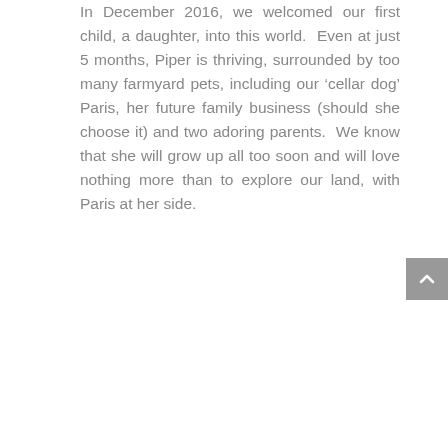In December 2016, we welcomed our first child, a daughter, into this world.  Even at just 5 months, Piper is thriving, surrounded by too many farmyard pets, including our ‘cellar dog’ Paris, her future family business (should she choose it) and two adoring parents.  We know that she will grow up all too soon and will love nothing more than to explore our land, with Paris at her side.